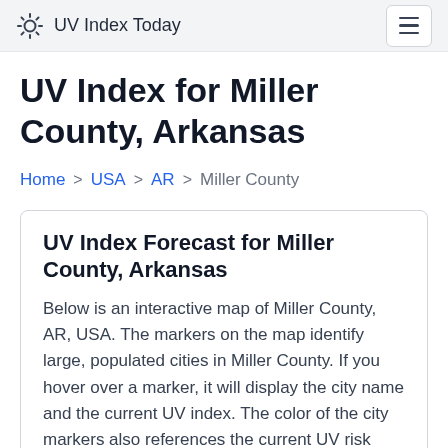UV Index Today
UV Index for Miller County, Arkansas
Home > USA > AR > Miller County
UV Index Forecast for Miller County, Arkansas
Below is an interactive map of Miller County, AR, USA. The markers on the map identify large, populated cities in Miller County. If you hover over a marker, it will display the city name and the current UV index. The color of the city markers also references the current UV risk level.